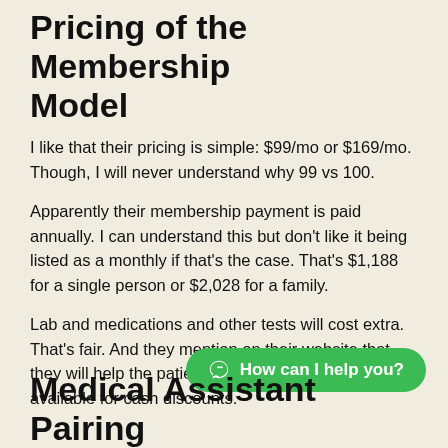Pricing of the Membership Model
I like that their pricing is simple: $99/mo or $169/mo. Though, I will never understand why 99 vs 100.
Apparently their membership payment is paid annually. I can understand this but don't like it being listed as a monthly if that's the case. That's $1,188 for a single person or $2,028 for a family.
Lab and medications and other tests will cost extra. That's fair. And they mention on their website that they will help the patient find cheaper pricing where available for cash discounts.
Medical Assistant Pairing